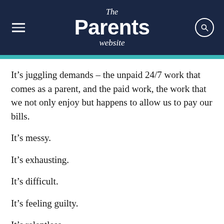The Parents website
It’s juggling demands – the unpaid 24/7 work that comes as a parent, and the paid work, the work that we not only enjoy but happens to allow us to pay our bills.
It’s messy.
It’s exhausting.
It’s difficult.
It’s feeling guilty.
It’s relentless.
When I found out what the implications of moving to stage 4 restrictions and a ‘state of disaster’ meant for the Tiny Human household, I cried.